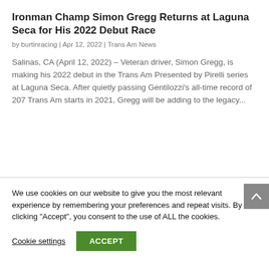Ironman Champ Simon Gregg Returns at Laguna Seca for His 2022 Debut Race
by burtinracing | Apr 12, 2022 | Trans Am News
Salinas, CA (April 12, 2022) – Veteran driver, Simon Gregg, is making his 2022 debut in the Trans Am Presented by Pirelli series at Laguna Seca. After quietly passing Gentilozzi's all-time record of 207 Trans Am starts in 2021, Gregg will be adding to the legacy...
We use cookies on our website to give you the most relevant experience by remembering your preferences and repeat visits. By clicking "Accept", you consent to the use of ALL the cookies.
Cookie settings
ACCEPT